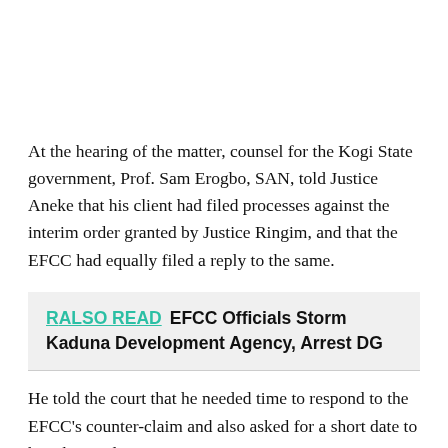At the hearing of the matter, counsel for the Kogi State government, Prof. Sam Erogbo, SAN, told Justice Aneke that his client had filed processes against the interim order granted by Justice Ringim, and that the EFCC had equally filed a reply to the same.
RALSO READ  EFCC Officials Storm Kaduna Development Agency, Arrest DG
He told the court that he needed time to respond to the EFCC's counter-claim and also asked for a short date to hear his application.